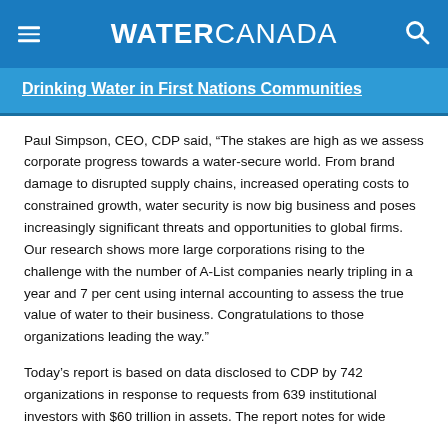WATER CANADA
Drinking Water in First Nations Communities
Paul Simpson, CEO, CDP said, “The stakes are high as we assess corporate progress towards a water-secure world. From brand damage to disrupted supply chains, increased operating costs to constrained growth, water security is now big business and poses increasingly significant threats and opportunities to global firms. Our research shows more large corporations rising to the challenge with the number of A-List companies nearly tripling in a year and 7 per cent using internal accounting to assess the true value of water to their business. Congratulations to those organizations leading the way.”
Today’s report is based on data disclosed to CDP by 742 organizations in response to requests from 639 institutional investors with $60 trillion in assets. The report notes for wide